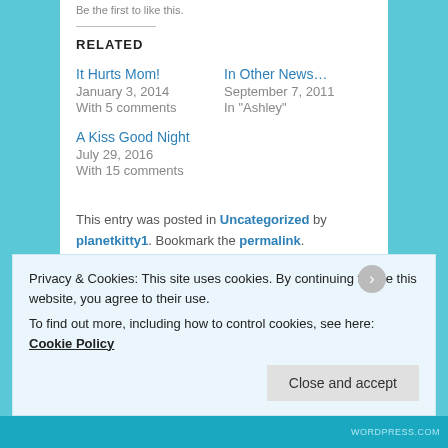Be the first to like this.
RELATED
It Hurts Mom!
January 3, 2014
With 5 comments
In Other News…
September 7, 2011
In "Ashley"
A Kiss Good Night
July 29, 2016
With 15 comments
This entry was posted in Uncategorized by planetkitty1. Bookmark the permalink.
Privacy & Cookies: This site uses cookies. By continuing to use this website, you agree to their use.
To find out more, including how to control cookies, see here: Cookie Policy
Close and accept